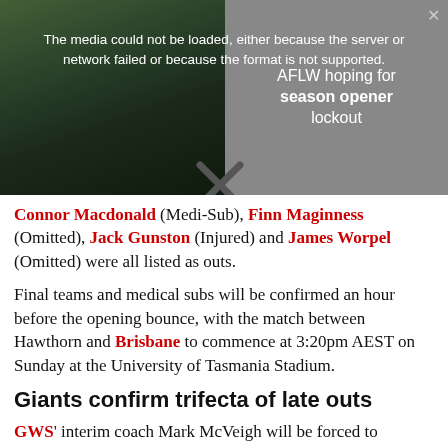[Figure (screenshot): Video player area showing a media error message overlaid on a sports image (players seated) on left half, and AFLW season opener lockout text on grey right half, with an X close icon]
Connor Macdonald (Medi-Sub), Finn Maginness (Omitted), Jack Gunston (Injured) and James Worpel (Omitted) were all listed as outs.
Final teams and medical subs will be confirmed an hour before the opening bounce, with the match between Hawthorn and Brisbane to commence at 3:20pm AEST on Sunday at the University of Tasmania Stadium.
Giants confirm trifecta of late outs
GWS' interim coach Mark McVeigh will be forced to